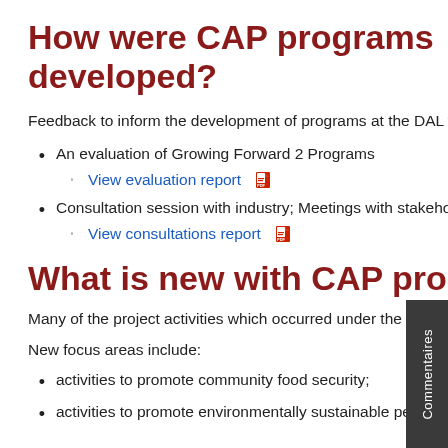How were CAP programs developed?
Feedback to inform the development of programs at the DAL was collected through:
An evaluation of Growing Forward 2 Programs
View evaluation report [PDF link]
Consultation session with industry; Meetings with stakeholders; and an Online public feedback survey
View consultations report [PDF link]
What is new with CAP programs?
Many of the project activities which occurred under the Growing Forward 2 initiative will remain under the CAP.
New focus areas include:
activities to promote community food security;
activities to promote environmentally sustainable perennial crops;